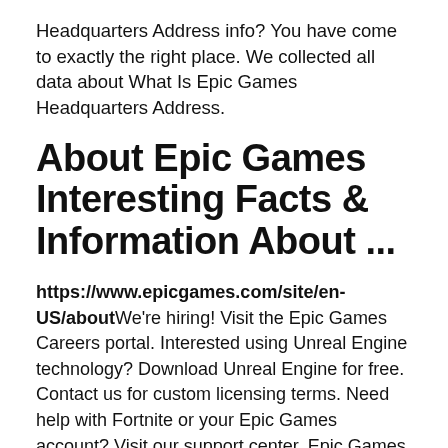Headquarters Address info? You have come to exactly the right place. We collected all data about What Is Epic Games Headquarters Address.
About Epic Games Interesting Facts & Information About ...
https://www.epicgames.com/site/en-US/about We're hiring! Visit the Epic Games Careers portal. Interested using Unreal Engine technology? Download Unreal Engine for free. Contact us for custom licensing terms. Need help with Fortnite or your Epic Games account? Visit our support center. Epic Games, Inc. 620 Crossroads Blvd, Cary